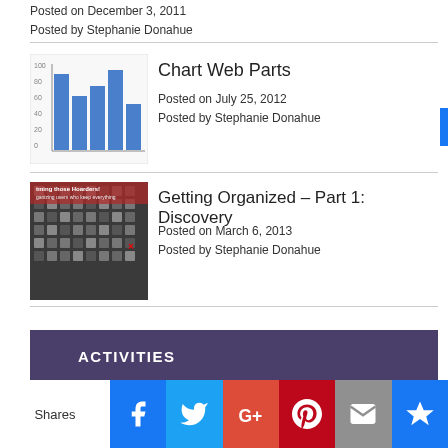Posted on December 3, 2011
Posted by Stephanie Donahue
[Figure (screenshot): Thumbnail of bar chart showing blue bars]
Chart Web Parts
Posted on July 25, 2012
Posted by Stephanie Donahue
[Figure (screenshot): Thumbnail image showing cluttered desktop/hoarders theme with text 'taming those Hoarders!']
Getting Organized – Part 1: Discovery
Posted on March 6, 2013
Posted by Stephanie Donahue
ACTIVITIES
[Figure (infographic): SharePoint Conference North America - BE THERE! May 21-23, 2018 MGM Grand Las Vegas NV. Stephanie Donahue, Pait Group.]
Shares | Facebook | Twitter | G+ | Pinterest | Email | Crown